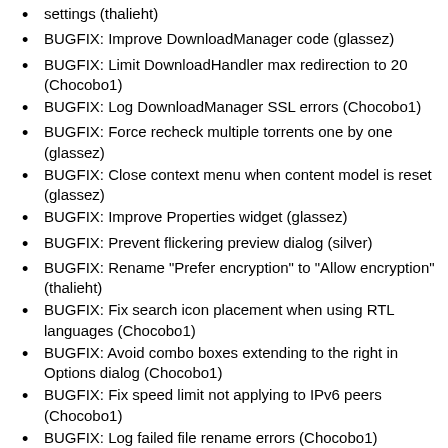settings (thalieht)
BUGFIX: Improve DownloadManager code (glassez)
BUGFIX: Limit DownloadHandler max redirection to 20 (Chocobo1)
BUGFIX: Log DownloadManager SSL errors (Chocobo1)
BUGFIX: Force recheck multiple torrents one by one (glassez)
BUGFIX: Close context menu when content model is reset (glassez)
BUGFIX: Improve Properties widget (glassez)
BUGFIX: Prevent flickering preview dialog (silver)
BUGFIX: Rename "Prefer encryption" to "Allow encryption" (thalieht)
BUGFIX: Fix search icon placement when using RTL languages (Chocobo1)
BUGFIX: Avoid combo boxes extending to the right in Options dialog (Chocobo1)
BUGFIX: Fix speed limit not applying to IPv6 peers (Chocobo1)
BUGFIX: Log failed file rename errors (Chocobo1)
BUGFIX: Fix wrong "Time Active" value displayed (Chocobo1)
BUGFIX: Rename priority to queue in the context of torrents (thalieht)
BUGFIX: Update remaining size of ignored files to 0 (Thomas Piccirello)
WEBUI: Use PBKDF2 for storing WebUI password. You will need to set your password again. (Chocobo1)
WEBUI: Use Javascript strict mode (Chocobo1)